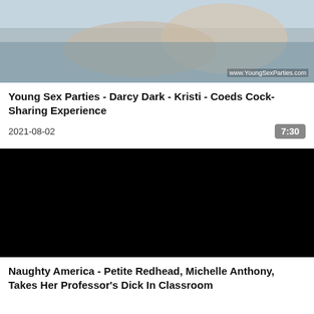[Figure (photo): Video thumbnail showing adult content with watermark www.YoungSexParties.com]
Young Sex Parties - Darcy Dark - Kristi - Coeds Cock-Sharing Experience
2021-08-02   7:30
[Figure (photo): Black video thumbnail placeholder]
Naughty America - Petite Redhead, Michelle Anthony, Takes Her Professor's Dick In Classroom